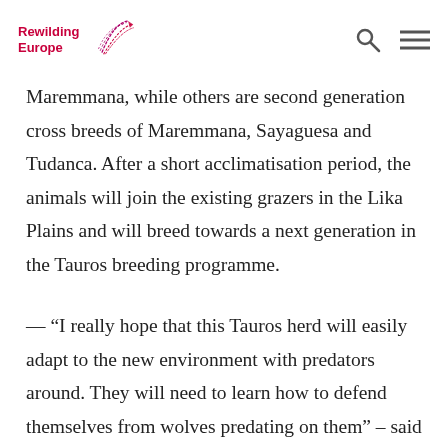Rewilding Europe
Maremmana, while others are second generation cross breeds of Maremmana, Sayaguesa and Tudanca. After a short acclimatisation period, the animals will join the existing grazers in the Lika Plains and will breed towards a next generation in the Tauros breeding programme.
— “I really hope that this Tauros herd will easily adapt to the new environment with predators around. They will need to learn how to defend themselves from wolves predating on them” – said Ronald Goderie